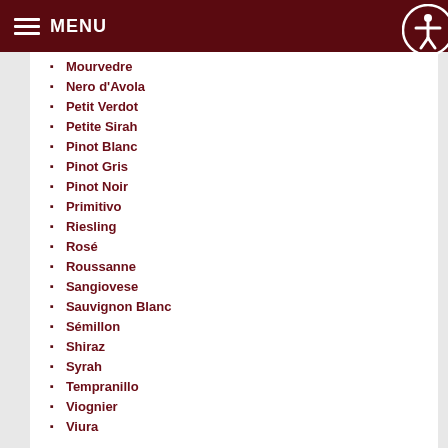MENU
Mourvedre
Nero d'Avola
Petit Verdot
Petite Sirah
Pinot Blanc
Pinot Gris
Pinot Noir
Primitivo
Riesling
Rosé
Roussanne
Sangiovese
Sauvignon Blanc
Sémillon
Shiraz
Syrah
Tempranillo
Viognier
Viura